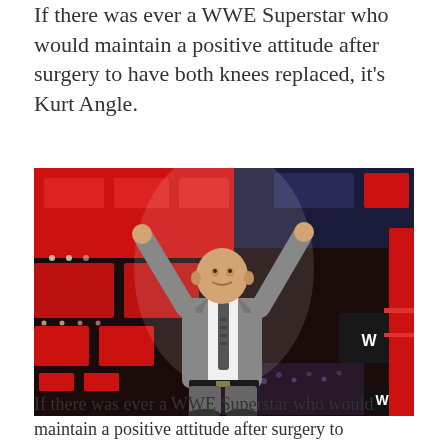If there was ever a WWE Superstar who would maintain a positive attitude after surgery to have both knees replaced, it’s Kurt Angle.
[Figure (photo): Kurt Angle in a grey suit with arms raised on WWE RAW stage with red lighting and WWE logos in background]
If there was ever a WWE Superstar who would maintain a positive attitude after surgery to